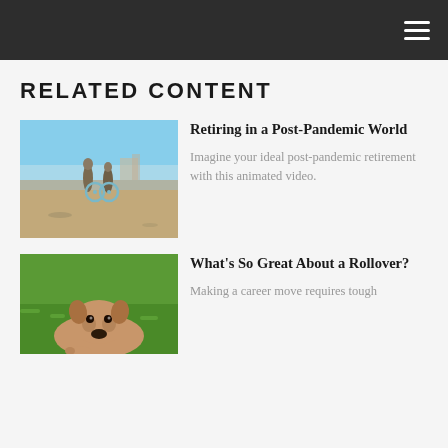RELATED CONTENT
[Figure (photo): Two people standing on a beach with bicycles, ocean and sky in background]
Retiring in a Post-Pandemic World
Imagine your ideal post-pandemic retirement with this animated video.
[Figure (photo): Close-up of a dog (appears to be a golden/light-colored dog) on green grass]
What's So Great About a Rollover?
Making a career move requires tough